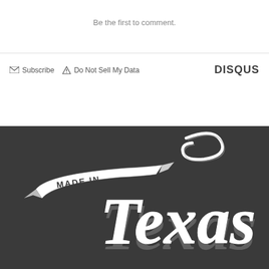Be the first to comment.
Subscribe   Do Not Sell My Data   DISQUS
[Figure (logo): Made in Texas script lettering logo on dark background. White stylized cursive 'Texas' text with a ribbon banner reading 'MADE IN' in the upper left.]